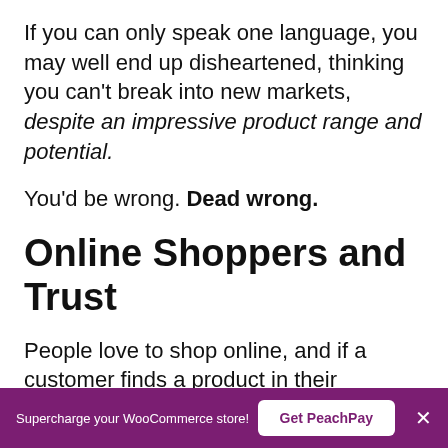If you can only speak one language, you may well end up disheartened, thinking you can't break into new markets, despite an impressive product range and potential.
You'd be wrong. Dead wrong.
Online Shoppers and Trust
People love to shop online, and if a customer finds a product in their language, can read the product description, likes what they see, trusts what they read, you
Supercharge your WooCommerce store! | Get PeachPay | ×